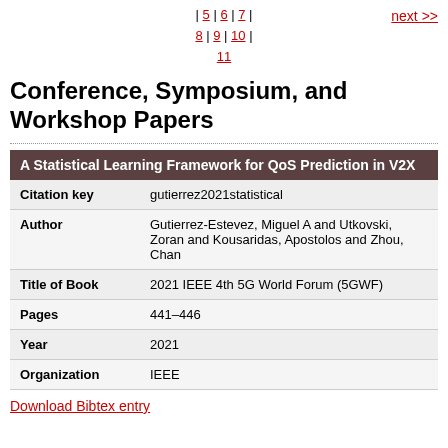| 5 | 6 | 7 | 8 | 9 | 10 | 11
next >>
Conference, Symposium, and Workshop Papers
| A Statistical Learning Framework for QoS Prediction in V2X |
| --- |
| Citation key | gutierrez2021statistical |
| Author | Gutierrez-Estevez, Miguel A and Utkovski, Zoran and Kousaridas, Apostolos and Zhou, Chan |
| Title of Book | 2021 IEEE 4th 5G World Forum (5GWF) |
| Pages | 441–446 |
| Year | 2021 |
| Organization | IEEE |
Download Bibtex entry